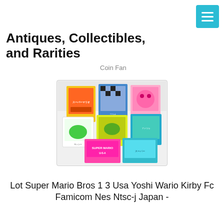[Figure (other): Hamburger menu button icon in teal/cyan color]
Antiques, Collectibles, and Rarities
Coin Fan
[Figure (photo): Photo of multiple Famicom/NES game cartridge boxes including Super Mario Bros, Yoshi, Wario, Kirby and other Japanese NTSC-J titles arranged on a white surface]
Lot Super Mario Bros 1 3 Usa Yoshi Wario Kirby Fc Famicom Nes Ntsc-j Japan -